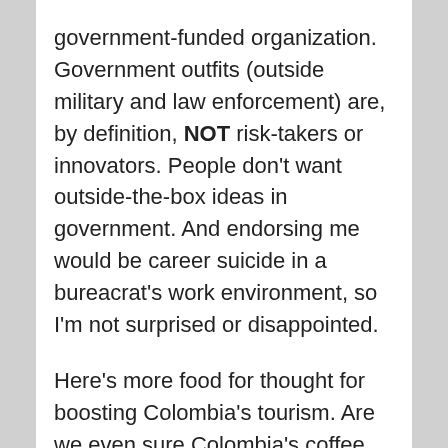government-funded organization. Government outfits (outside military and law enforcement) are, by definition, NOT risk-takers or innovators. People don't want outside-the-box ideas in government. And endorsing me would be career suicide in a bureacrat's work environment, so I'm not surprised or disappointed.

Here's more food for thought for boosting Colombia's tourism. Are we even sure Colombia's coffee, flowers, and pink dolphins can compete with their sterile equivalents in Brazil, Mexico, Peru, or Argentina? Maybe. I doubt it. But for sex, drugs, and partying, Colombia crushes the competition. There's no comparison. This year's U.S. Secret Service sex scandal in Cartagena will bring more tourism to Colombia than any